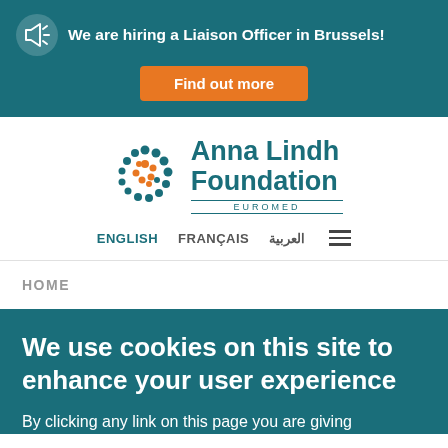We are hiring a Liaison Officer in Brussels! Find out more
[Figure (logo): Anna Lindh Foundation Euromed logo with circular dot pattern in teal and orange]
ENGLISH  FRANÇAIS  العربية
HOME
We use cookies on this site to enhance your user experience
By clicking any link on this page you are giving